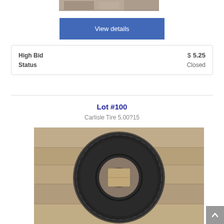[Figure (photo): Partial view of an item (top cropped), appears to be a wooden/metal object on a surface]
View details
| Field | Value |
| --- | --- |
| High Bid | $ 5.25 |
| Status | Closed |
Lot #100
Carlisle Tire 5.00?15
[Figure (photo): A Carlisle tire (5.00-15) lying flat on a wooden surface, showing tread and sidewall]